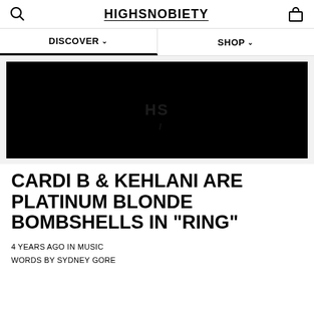HIGHSNOBIETY
DISCOVER
SHOP
[Figure (screenshot): Black image placeholder with faint HS watermark logo in center]
CARDI B & KEHLANI ARE PLATINUM BLONDE BOMBSHELLS IN "RING"
4 YEARS AGO IN MUSIC
WORDS BY SYDNEY GORE